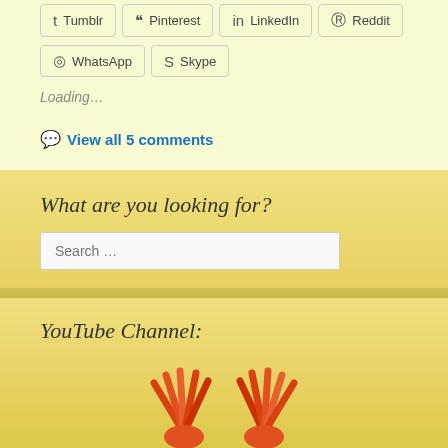Tumblr
Pinterest
LinkedIn
Reddit
WhatsApp
Skype
Loading...
View all 5 comments
What are you looking for?
Search …
YouTube Channel:
[Figure (illustration): Two orange/red stylized hand icons with radiating fingers at the bottom of the page]